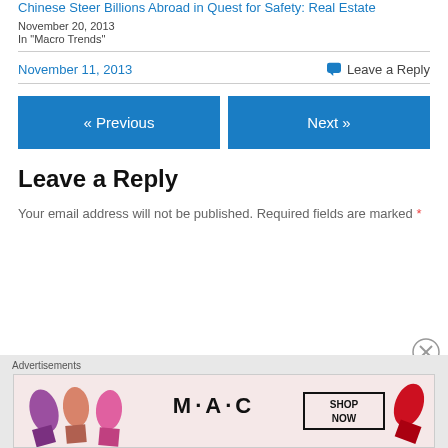Chinese Steer Billions Abroad in Quest for Safety: Real Estate
November 20, 2013
In "Macro Trends"
November 11, 2013
Leave a Reply
« Previous
Next »
Leave a Reply
Your email address will not be published. Required fields are marked *
[Figure (other): MAC Cosmetics advertisement showing colorful lipsticks with MAC logo and SHOP NOW button]